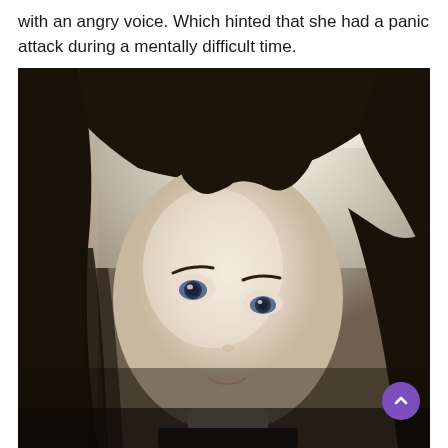with an angry voice. Which hinted that she had a panic attack during a mentally difficult time.
[Figure (photo): Close-up selfie photo of a young East Asian woman with long dark straight hair with bangs, light skin, looking at the camera with a neutral expression. The background is bright/overexposed light.]